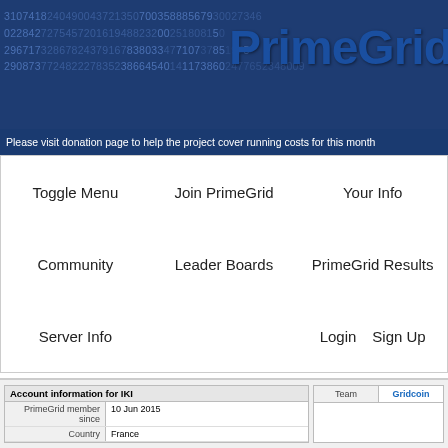PrimeGrid - Please visit donation page to help the project cover running costs for this month
Toggle Menu
Join PrimeGrid
Your Info
Community
Leader Boards
PrimeGrid Results
Server Info
Login
Sign Up
| Account information for IKI |  |
| --- | --- |
| PrimeGrid member since | 10 Jun 2015 |
| Country | France |
| Total credit | 4,920,952,203.05 |
| Recent average credit | 36,770.05 |
| Badges | M6 CuI ESP PPS PSP SoB SR5 SGS |
Team | Gridcoin